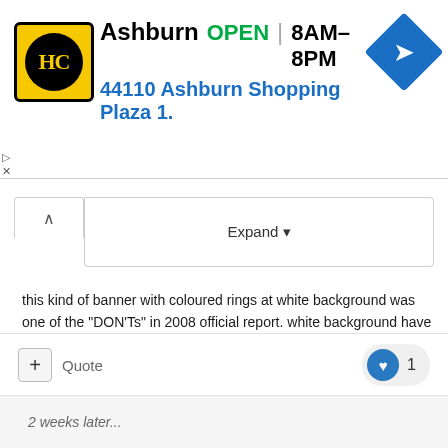[Figure (screenshot): Advertisement banner for HC store in Ashburn showing logo, OPEN status, hours 8AM-8PM, address 44110 Ashburn Shopping Plaza 1., and navigation icon]
Expand
this kind of banner with coloured rings at white background was one of the "DON'Ts" in 2008 official report. white background have a tendency to swallow those fine lines in the rings (just try to see it at the stands far back in this same picture). the yellow one simply disappears specially on tv. it seems like they don't learnt from their own experience.
overall LOTG looks great!
+ Quote
1
2 weeks later...